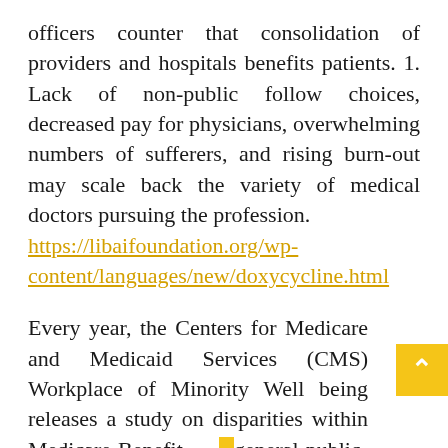officers counter that consolidation of providers and hospitals benefits patients. 1. Lack of non-public follow choices, decreased pay for physicians, overwhelming numbers of sufferers, and rising burn-out may scale back the variety of medical doctors pursuing the profession. https://libaifoundation.org/wp-content/languages/new/doxycycline.html
Every year, the Centers for Medicare and Medicaid Services (CMS) Workplace of Minority Well being releases a study on disparities within Medicare Benefit — general public-private partnership that covers almost